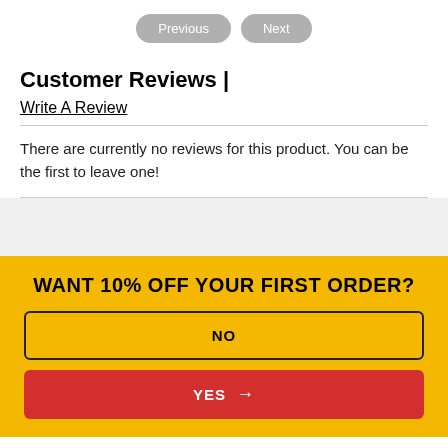[Figure (screenshot): Previous and Next navigation buttons (gray pill-shaped buttons)]
Customer Reviews |
Write A Review
There are currently no reviews for this product. You can be the first to leave one!
WANT 10% OFF YOUR FIRST ORDER?
NO
YES →